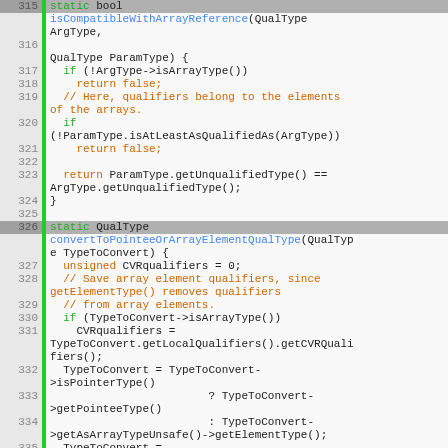[Figure (screenshot): Source code listing lines 315-335 of a C++ file showing isCompatibleWithArrayReference and convertToPointeeOrArrayElementQualType functions]